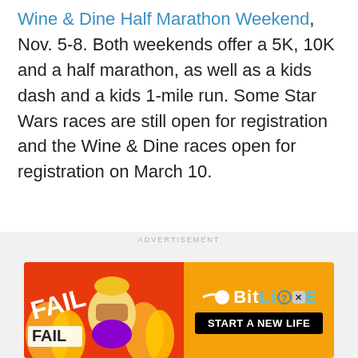Wine & Dine Half Marathon Weekend, Nov. 5-8. Both weekends offer a 5K, 10K and a half marathon, as well as a kids dash and a kids 1-mile run. Some Star Wars races are still open for registration and the Wine & Dine races open for registration on March 10.
ADVERTISEMENT
[Figure (illustration): BitLife advertisement banner with 'FAIL' text, cartoon character, flames, and 'START A NEW LIFE' tagline]